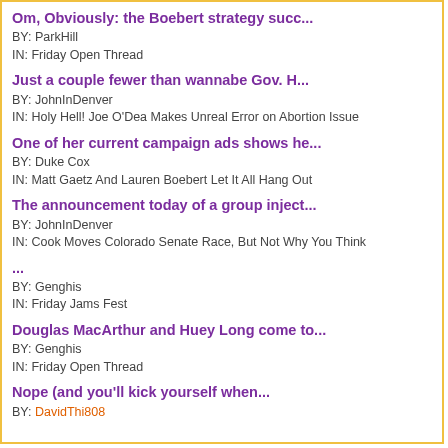Om, Obviously: the Boebert strategy succ...
BY: ParkHill
IN: Friday Open Thread
Just a couple fewer than wannabe Gov. H...
BY: JohnInDenver
IN: Holy Hell! Joe O'Dea Makes Unreal Error on Abortion Issue
One of her current campaign ads shows he...
BY: Duke Cox
IN: Matt Gaetz And Lauren Boebert Let It All Hang Out
The announcement today of a group inject...
BY: JohnInDenver
IN: Cook Moves Colorado Senate Race, But Not Why You Think
...
BY: Genghis
IN: Friday Jams Fest
Douglas MacArthur and Huey Long come to...
BY: Genghis
IN: Friday Open Thread
Nope (and you'll kick yourself when...
BY: DavidThi808